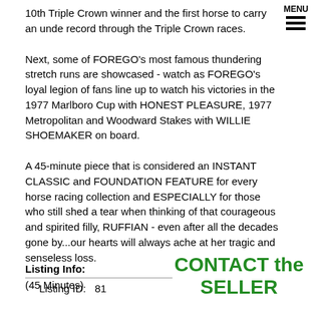10th Triple Crown winner and the first horse to carry an undefeated record through the Triple Crown races.
Next, some of FOREGO's most famous thundering stretch runs are showcased - watch as FOREGO's loyal legion of fans line up to watch his victories in the 1977 Marlboro Cup with HONEST PLEASURE, 1977 Metropolitan and Woodward Stakes with WILLIE SHOEMAKER on board.
A 45-minute piece that is considered an INSTANT CLASSIC and FOUNDATION FEATURE for every horse racing collection and ESPECIALLY for those who still shed a tear when thinking of that courageous and spirited filly, RUFFIAN - even after all the decades gone by...our hearts will always ache at her tragic and senseless loss.
(45 Minutes)
Listing Info:
Listing ID:  81
CONTACT the SELLER